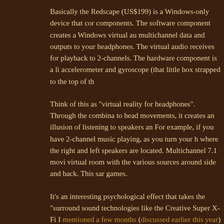Basically the Redscape (US$199) is a Windows-only device that cor components. The software component creates a Windows virtual au multichannel data and outputs to your headphones. The virtual audio receives for playback to 2-channels. The hardware component is a li accelerometer and gyroscope (that little box strapped to the top of th
Think of this as "virtual reality for headphones". Through the combina to head movements, it creates an illusion of listening to speakers an For example, if you have 2-channel music playing, as you turn your h where the right and left speakers are located. Multichannel 7.1 movi virtual room with the various sources around side and back. This sar games.
It's an interesting psychological effect that takes the "surround sound technologies like the Creative Super X-Fi I mentioned a few months (discussed earlier this year) without the visual component.
I'll speak more about this device in another post.
Currently enjoying Cigarettes After Sex's just-released Cry (DR7, 20 moody ambient pop, it's quite enjoyable. With a DR7 and rather high 24/96 hi-res.